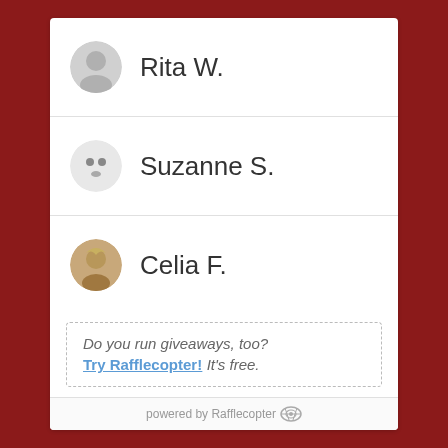Rita W.
Suzanne S.
Celia F.
Do you run giveaways, too? Try Rafflecopter! It's free.
powered by Rafflecopter